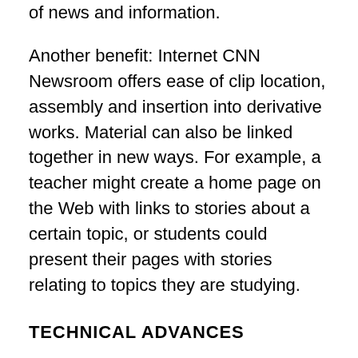of news and information.
Another benefit: Internet CNN Newsroom offers ease of clip location, assembly and insertion into derivative works. Material can also be linked together in new ways. For example, a teacher might create a home page on the Web with links to stories about a certain topic, or students could present their pages with stories relating to topics they are studying.
TECHNICAL ADVANCES
Internet CNN Newsroom is made possible by two technical advances designed by Mr. Soo and Mr. Compton. The first is "video-streaming," which allows video information to be transmitted without download delays. The second is a process that